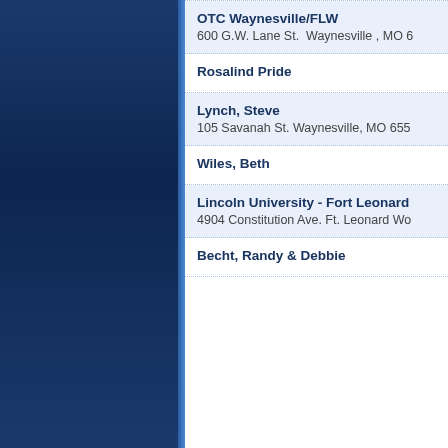OTC Waynesville/FLW
600 G.W. Lane St.  Waynesville , MO 6
Rosalind Pride
Lynch, Steve
105 Savanah St. Waynesville, MO 655
Wiles, Beth
Lincoln University - Fort Leonard
4904 Constitution Ave. Ft. Leonard Wo
Becht, Randy & Debbie